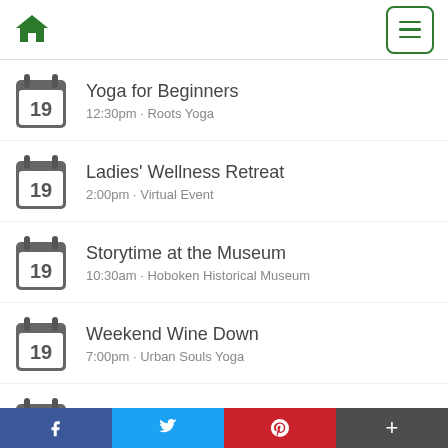Home | Menu
Yoga for Beginners
12:30pm · Roots Yoga
Ladies' Wellness Retreat
2:00pm · Virtual Event
Storytime at the Museum
10:30am · Hoboken Historical Museum
Weekend Wine Down
7:00pm · Urban Souls Yoga
LIVE Musical Cooking Class
1:00pm · Virtual Event
Hoboken Uptown Farmer's…
f  Twitter  P  +